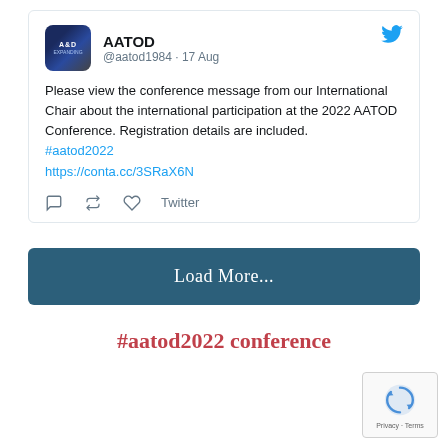[Figure (screenshot): Tweet card from AATOD (@aatod1984) posted on 17 Aug with avatar image and Twitter bird icon]
Please view the conference message from our International Chair about the international participation at the 2022 AATOD Conference. Registration details are included.
#aatod2022
https://conta.cc/3SRaX6N
[Figure (other): Load More... button in dark teal/blue color]
#aatod2022 conference
[Figure (other): reCAPTCHA widget with Privacy and Terms text]